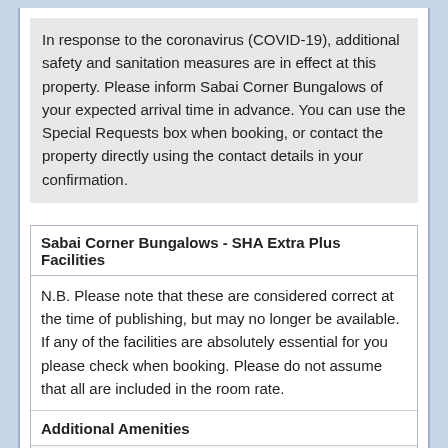In response to the coronavirus (COVID-19), additional safety and sanitation measures are in effect at this property. Please inform Sabai Corner Bungalows of your expected arrival time in advance. You can use the Special Requests box when booking, or contact the property directly using the contact details in your confirmation.
Sabai Corner Bungalows - SHA Extra Plus Facilities
N.B. Please note that these are considered correct at the time of publishing, but may no longer be available. If any of the facilities are absolutely essential for you please check when booking. Please do not assume that all are included in the room rate.
Additional Amenities
Bar
Bicycle rental